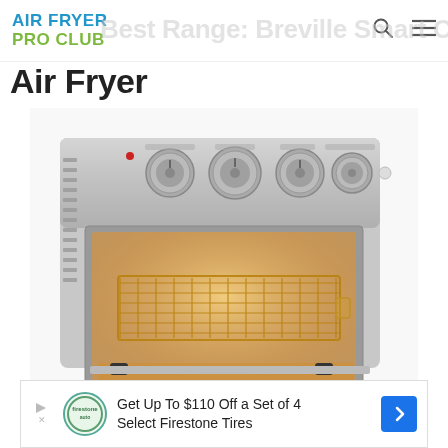AIR FRYER PRO CLUB
Air Fryer
[Figure (photo): Stainless steel Cuisinart air fryer toaster oven with four control knobs on top, glass door showing interior with wire basket on rack, lit interior, black rubber feet.]
Get Up To $110 Off a Set of 4 Select Firestone Tires